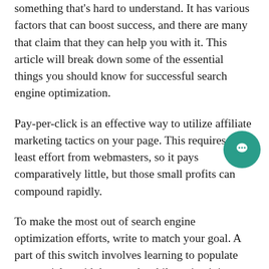something that's hard to understand. It has various factors that can boost success, and there are many that claim that they can help you with it. This article will break down some of the essential things you should know for successful search engine optimization.
Pay-per-click is an effective way to utilize affiliate marketing tactics on your page. This requires the least effort from webmasters, so it pays comparatively little, but those small profits can compound rapidly.
To make the most out of search engine optimization efforts, write to match your goal. A part of this switch involves learning to populate your articles with keywords while maintaining a good flow. One reason using keywords will improve your rankings on search engines is that search engine spiders work by locating and weighting keywords.
Changing from AP to SEO style can really optimize your search